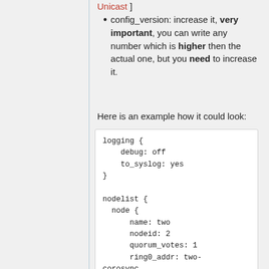config_version: increase it, very important, you can write any number which is higher then the actual one, but you need to increase it.
Here is an example how it could look:
logging {
    debug: off
    to_syslog: yes
}

nodelist {
  node {
      name: two
      nodeid: 2
      quorum_votes: 1
      ring0_addr: two-corosync
  }

  node {